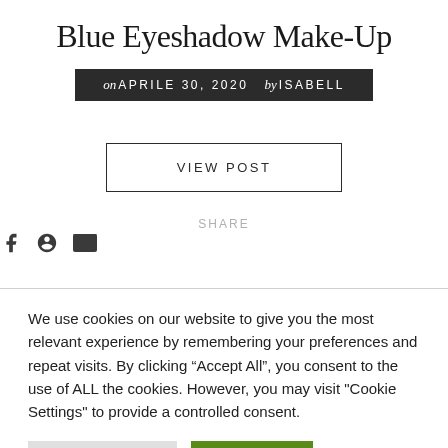Blue Eyeshadow Make-Up
on APRILE 30, 2020   by ISABELL
VIEW POST
SHARE
We use cookies on our website to give you the most relevant experience by remembering your preferences and repeat visits. By clicking “Accept All”, you consent to the use of ALL the cookies. However, you may visit "Cookie Settings" to provide a controlled consent.
Cookie Settings
Accept All